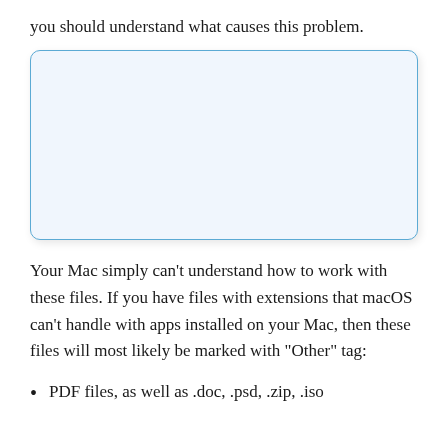you should understand what causes this problem.
[Figure (other): Empty light blue rounded-rectangle box, likely a placeholder for an image or screenshot.]
Your Mac simply can't understand how to work with these files. If you have files with extensions that macOS can't handle with apps installed on your Mac, then these files will most likely be marked with “Other” tag:
PDF files, as well as .doc, .psd, .zip, .iso